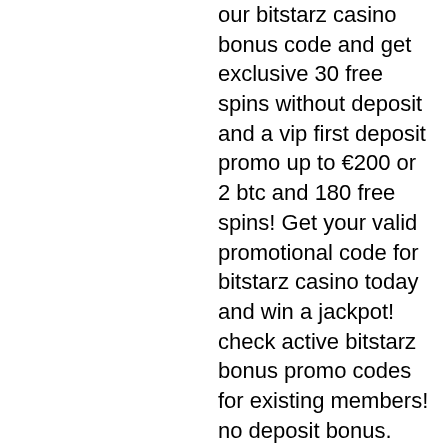our bitstarz casino bonus code and get exclusive 30 free spins without deposit and a vip first deposit promo up to €200 or 2 btc and 180 free spins! Get your valid promotional code for bitstarz casino today and win a jackpot! check active bitstarz bonus promo codes for existing members! no deposit bonus. Are bitstarz casino™ no deposit bonuses legit? ➤ review updated apr 08, 2022 ✓ 30 no deposit free spins on wolf treasure ✓ withdraw winnings instantly! Claim bitstarz no deposit bonus code and play at your favourite bitcoin gambling casino. The promo code is "limit". Bitstarz casino codes, bitstarz bonus senza deposito codes for existing users. Zdarma bitstarz kein einzahlungsbonus codes for existing users
 Enjoy over 900 games at this brilliant bitcoin casino, bitstarz no deposit codes 2021. Players can also triple their first